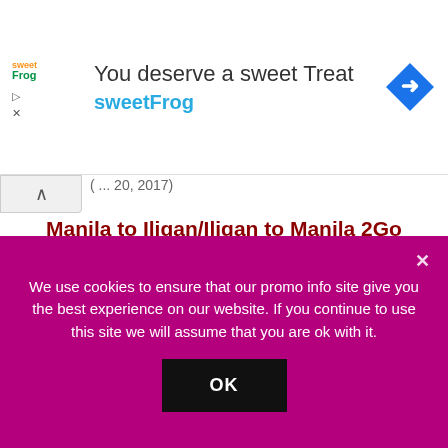[Figure (screenshot): sweetFrog advertisement banner: logo on left, headline 'You deserve a sweet Treat', brand name 'sweetFrog' in blue, blue diamond arrow icon on right]
Manila to Iligan/Iligan to Manila 2Go Ships Sailing Time and Dates
The Manila to Iligan route, serviced by St. Francis Xavier has only 3 trips for April 2017: April 6, 13 and 20. The ship exits Manila at 9AM.
From Iligan, Saint Francis Xavier departs at 9AM
We use cookies to ensure that our promo info site give you the best experience on our website. If you continue to use this site we will assume that you are ok with it.